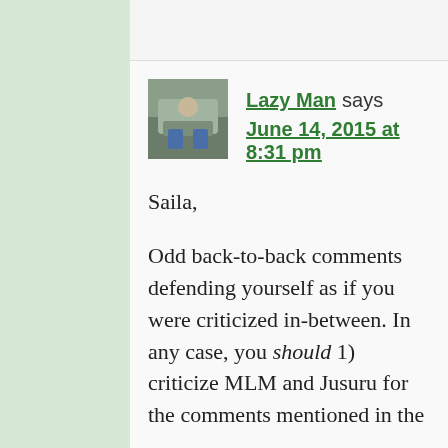[Figure (photo): Avatar photo of user Lazy Man]
Lazy Man says
June 14, 2015 at 8:31 pm
Saila,

Odd back-to-back comments defending yourself as if you were criticized in-between. In any case, you should 1) criticize MLM and Jusuru for the comments mentioned in the article. 2) acknowledge that the